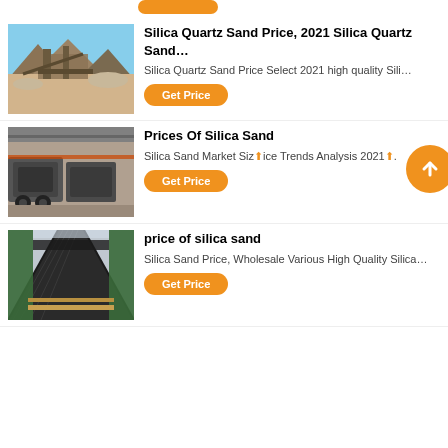[Figure (photo): Silica quartz sand mining site with machinery and rock/sand piles under blue sky]
Silica Quartz Sand Price, 2021 Silica Quartz Sand…
Silica Quartz Sand Price Select 2021 high quality Sili…
Get Price
[Figure (photo): Industrial crushers and heavy machinery in a factory/warehouse]
Prices Of Silica Sand
Silica Sand Market Size Price Trends Analysis 2021…
Get Price
[Figure (photo): Conveyor belt and green industrial equipment viewed from inside]
price of silica sand
Silica Sand Price, Wholesale Various High Quality Silica…
Get Price